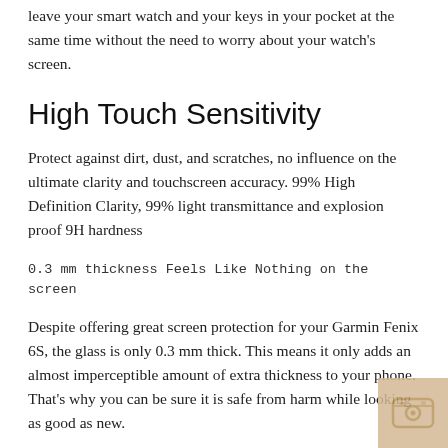leave your smart watch and your keys in your pocket at the same time without the need to worry about your watch's screen.
High Touch Sensitivity
Protect against dirt, dust, and scratches, no influence on the ultimate clarity and touchscreen accuracy. 99% High Definition Clarity, 99% light transmittance and explosion proof 9H hardness
0.3 mm thickness Feels Like Nothing on the screen
Despite offering great screen protection for your Garmin Fenix 6S, the glass is only 0.3 mm thick. This means it only adds an almost imperceptible amount of extra thickness to your phone. That's why you can be sure it is safe from harm while looking as good as new.